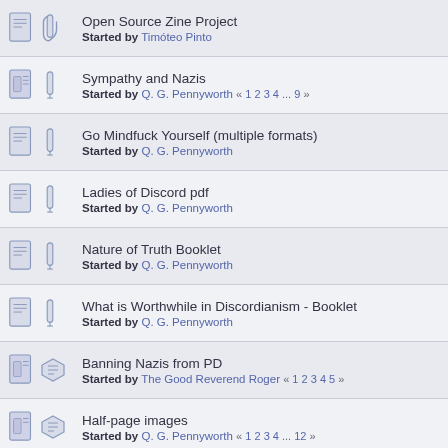Open Source Zine Project
Started by Timóteo Pinto
Sympathy and Nazis
Started by Q. G. Pennyworth « 1 2 3 4 ... 9 »
Go Mindfuck Yourself (multiple formats)
Started by Q. G. Pennyworth
Ladies of Discord pdf
Started by Q. G. Pennyworth
Nature of Truth Booklet
Started by Q. G. Pennyworth
What is Worthwhile in Discordianism - Booklet
Started by Q. G. Pennyworth
Banning Nazis from PD
Started by The Good Reverend Roger « 1 2 3 4 5 »
Half-page images
Started by Q. G. Pennyworth « 1 2 3 4 ... 12 »
Small fist, BIG PUNCH! (One Sentence Meme Bombs)
Started by ñ... « 1 2 3 »
Arsonist Magician